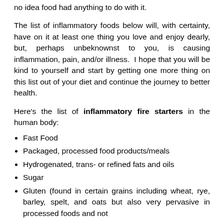no idea food had anything to do with it.
The list of inflammatory foods below will, with certainty, have on it at least one thing you love and enjoy dearly, but, perhaps unbeknownst to you, is causing inflammation, pain, and/or illness.  I hope that you will be kind to yourself and start by getting one more thing on this list out of your diet and continue the journey to better health.
Here's the list of inflammatory fire starters in the human body:
Fast Food
Packaged, processed food products/meals
Hydrogenated, trans- or refined fats and oils
Sugar
Gluten (found in certain grains including wheat, rye, barley, spelt, and oats but also very pervasive in processed foods and not